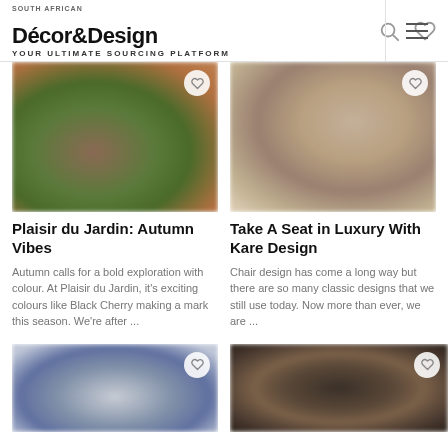South African Décor&Design — Your Ultimate Sourcing Platform
[Figure (photo): Blurred outdoor garden photo with autumnal colours — greens, oranges, browns]
Plaisir du Jardin: Autumn Vibes
Autumn calls for a bold exploration with colour. At Plaisir du Jardin, it's exciting colours like Black Cherry making a mark this season. We're after ...
[Figure (photo): Blurred interior photo showing a luxury chair design in warm neutral tones]
Take A Seat in Luxury With Kare Design
Chair design has come a long way but there are so many classic designs that we still use today. Now more than ever, we are ...
[Figure (photo): Blurred photo with blue-grey tones, partially visible at bottom of page]
[Figure (photo): Blurred dark brown/black photo, partially visible at bottom of page]